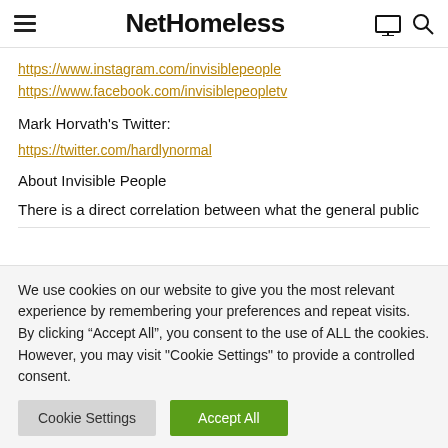NetHomeless
https://www.instagram.com/invisiblepeople
https://www.facebook.com/invisiblepeopletv
Mark Horvath's Twitter:
https://twitter.com/hardlynormal
About Invisible People
There is a direct correlation between what the general public
We use cookies on our website to give you the most relevant experience by remembering your preferences and repeat visits. By clicking “Accept All”, you consent to the use of ALL the cookies. However, you may visit "Cookie Settings" to provide a controlled consent.